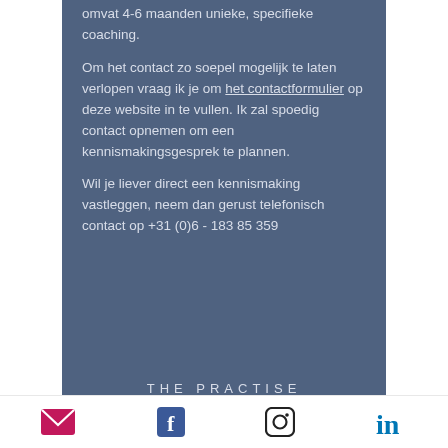omvat 4-6 maanden unieke, specifieke coaching.
Om het contact zo soepel mogelijk te laten verlopen vraag ik je om het contactformulier op deze website in te vullen. Ik zal spoedig contact opnemen om een kennismakingsgesprek te plannen.
Wil je liever direct een kennismaking vastleggen, neem dan gerust telefonisch contact op +31 (0)6 - 183 85 359
THE PRACTISE
[Figure (infographic): Social media icons row: email (envelope, pink/magenta), Facebook (blue), Instagram (black outline), LinkedIn (blue)]